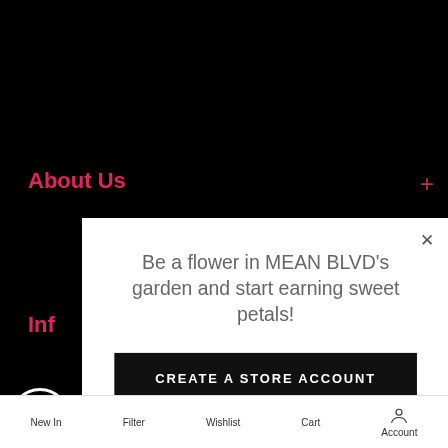About Us
Inf
Ne
[Figure (screenshot): Modal popup overlay on a dark e-commerce site background. The modal has white background with text 'Be a flower in MEAN BLVD's garden and start earning sweet petals!', a black button 'CREATE A STORE ACCOUNT', and two action options: LOG IN (person icon) and LEARN MORE (question mark icon).]
LOG IN
LEARN MORE
New In    Filter    Wishlist    Cart    Account